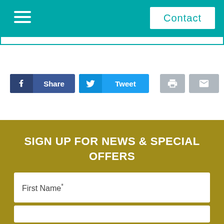Contact
[Figure (infographic): Social sharing buttons: Facebook Share, Twitter Tweet, print, and email icons]
SIGN UP FOR NEWS & SPECIAL OFFERS
First Name*